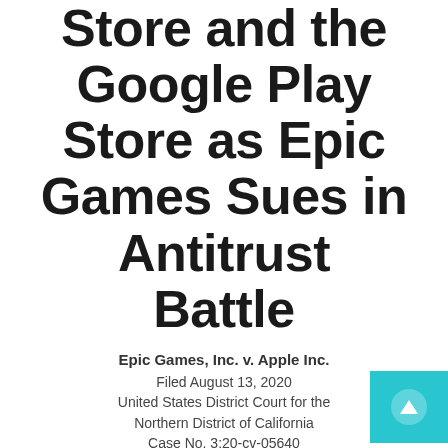Store and the Google Play Store as Epic Games Sues in Antitrust Battle
Epic Games, Inc. v. Apple Inc.
Filed August 13, 2020
United States District Court for the Northern District of California
Case No. 3:20-cv-05640
AND